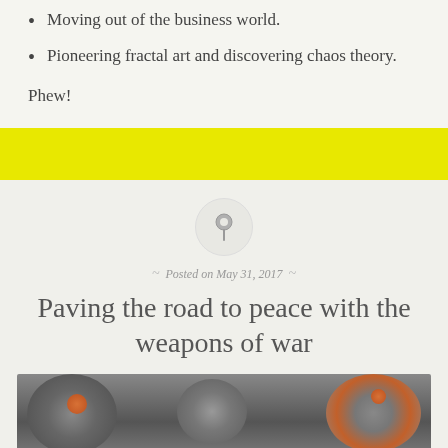Moving out of the business world.
Pioneering fractal art and discovering chaos theory.
Phew!
[Figure (other): Yellow horizontal banner/divider bar]
[Figure (other): Circular pin/pushpin icon in a light grey circle]
Posted on May 31, 2017
Paving the road to peace with the weapons of war
[Figure (photo): Photograph of large smoke and explosion clouds with orange fire visible, taken outdoors]